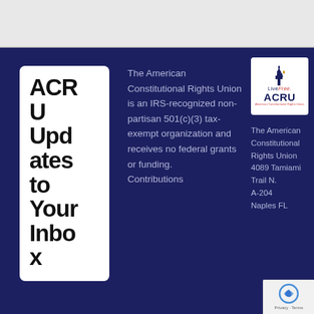[Figure (screenshot): Top banner/header area with light gray background]
ACRU Updates to Your Inbox
The American Constitutional Rights Union is an IRS-recognized non-partisan 501(c)(3) tax-exempt organization and receives no federal grants or funding. Contributions
[Figure (logo): ACRU logo - Live Free. ACRU American Constitutional Rights Union with Statue of Liberty icon]
The American Constitutional Rights Union 4089 Tamiami Trail N. A-204 Naples FL